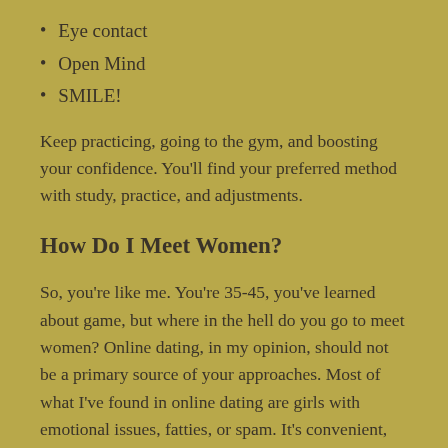Eye contact
Open Mind
SMILE!
Keep practicing, going to the gym, and boosting your confidence. You'll find your preferred method with study, practice, and adjustments.
How Do I Meet Women?
So, you're like me. You're 35-45, you've learned about game, but where in the hell do you go to meet women? Online dating, in my opinion, should not be a primary source of your approaches. Most of what I've found in online dating are girls with emotional issues, fatties, or spam. It's convenient, which is why it's not a good source